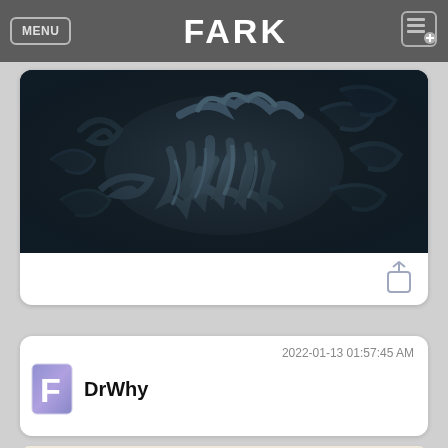FARK
[Figure (photo): Black and white close-up photo of ornate stone architectural carving featuring bearded face and flowing baroque decorative elements]
[Figure (screenshot): Share/upload icon button in light gray]
2022-01-13 01:57:45 AM
DrWhy
[Figure (photo): Partial black and white photo showing person with dark hair looking at a framed mirror on a wall with a curtain rod above, clothes hanger visible on right]